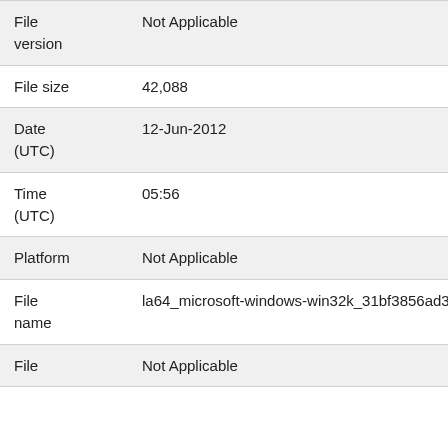| Field | Value |
| --- | --- |
| File version | Not Applicable |
| File size | 42,088 |
| Date (UTC) | 12-Jun-2012 |
| Time (UTC) | 05:56 |
| Platform | Not Applicable |
| File name | la64_microsoft-windows-win32k_31bf3856ad364e35_6 |
| File | Not Applicable |